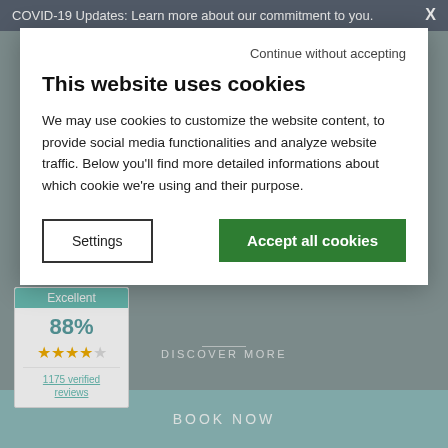COVID-19 Updates: Learn more about our commitment to you.
Continue without accepting
This website uses cookies
We may use cookies to customize the website content, to provide social media functionalities and analyze website traffic. Below you'll find more detailed informations about which cookie we're using and their purpose.
Settings
Accept all cookies
very important and must be celebrated in a special atmospheres. After a perfect wedding day, bride and groom deserve relaxing in...
DISCOVER MORE
Excellent
88%
1175 verified reviews
BOOK NOW